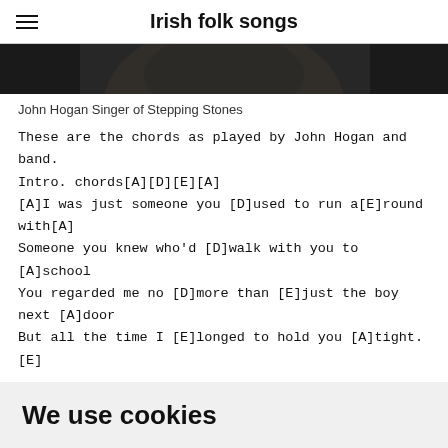Irish folk songs
[Figure (photo): Partial photo of John Hogan, showing dark jacket, cropped at top of frame]
John Hogan Singer of Stepping Stones
These are the chords as played by John Hogan and band.
Intro. chords[A][D][E][A]
[A]I was just someone you [D]used to run a[E]round with[A]
Someone you knew who'd [D]walk with you to [A]school
You regarded me no [D]more than [E]just the boy next [A]door
But all the time I [E]longed to hold you [A]tight.[E]
We use cookies
We use cookies and other tracking technologies to improve your browsing experience on our website, to show you personalized content and targeted ads, to analyze our website traffic, and